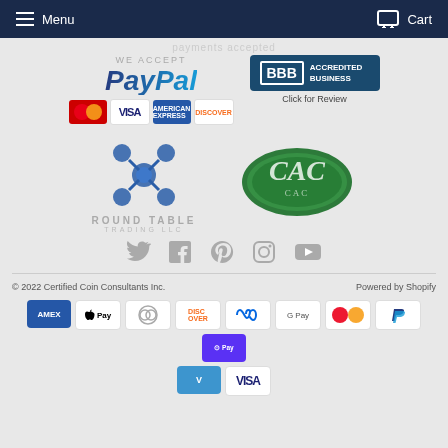Menu   Cart
[Figure (logo): PayPal logo with credit card icons (Mastercard, Visa, American Express, Discover)]
[Figure (logo): BBB Accredited Business badge - Click for Review]
[Figure (logo): Round Table Trading LLC logo]
[Figure (logo): CAC (Certified Acceptance Corporation) green oval logo]
[Figure (infographic): Social media icons: Twitter, Facebook, Pinterest, Instagram, YouTube]
© 2022 Certified Coin Consultants Inc.
Powered by Shopify
[Figure (infographic): Payment icons: Amex, Apple Pay, Diners Club, Discover, Meta Pay, Google Pay, Mastercard, PayPal, Shop Pay, Venmo, Visa]